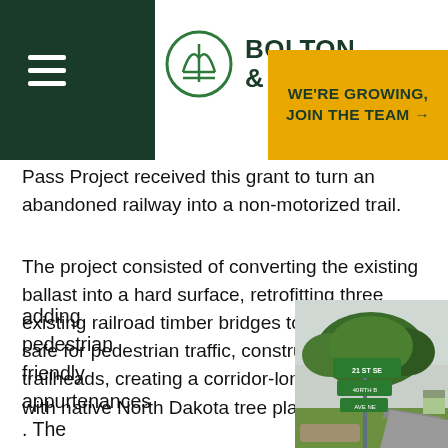Bolton & Menk — We're Growing, Join the Team →
Pass Project received this grant to turn an abandoned railway into a non-motorized trail.
The project consisted of converting the existing ballast into a hard surface, retrofitting three existing railroad timber bridges to make them safe for pedestrian traffic, constructing three trailheads, creating a corridor-long arboretum with native North Dakota tree plantings, and adding pedestrian friendly appurtenances. The construction of the sustainable trail provides
[Figure (photo): Street intersection signs reading '21 St SE' and other signs, with large green trees in background and a paved trail/road entering a residential area]